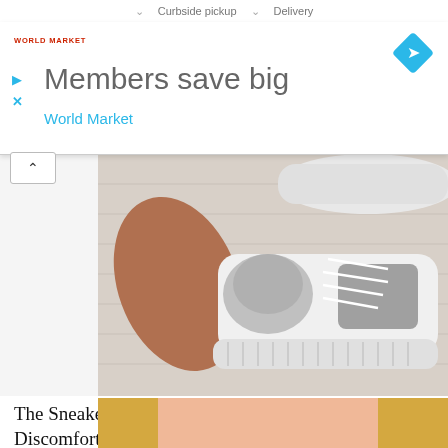Curbside pickup  ∨  Delivery
[Figure (screenshot): World Market ad banner: red 'World Market' logo top-left, blue diamond navigation icon top-right, large text 'Members save big', subtitle 'World Market' in blue, with play and close controls on left]
[Figure (photo): Close-up photo of a person's foot wearing a white and grey knit sneaker with lace-up front and textured sole, placed on a light wood floor surface]
The Sneakers for Standing All Day Without Discomfort - Now 50% off
Sursell
[Figure (photo): Partial view of a person's face with blonde hair, bottom of page, cut off]